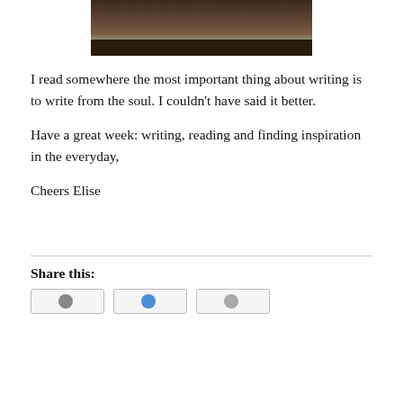[Figure (photo): A close-up photo of a writing brush or pen against a textured background, partially cropped at top.]
I read somewhere the most important thing about writing is to write from the soul. I couldn't have said it better.
Have a great week: writing, reading and finding inspiration in the everyday,
Cheers Elise
Share this: